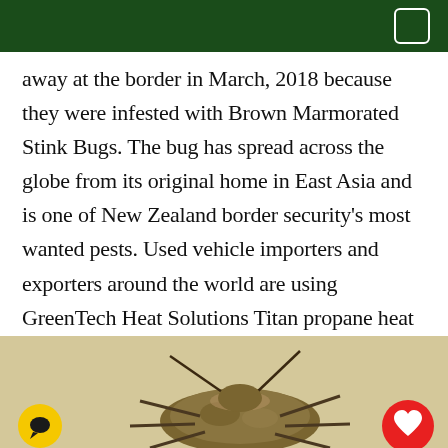away at the border in March, 2018 because they were infested with Brown Marmorated Stink Bugs. The bug has spread across the globe from its original home in East Asia and is one of New Zealand border security's most wanted pests. Used vehicle importers and exporters around the world are using GreenTech Heat Solutions Titan propane heat systems to kill the brown marmorated stink bug in custom-designed heat chambers prior to leaving their native port.
[Figure (photo): Photo of a brown marmorated stink bug at the bottom of the page, with partial view showing legs and body. Yellow chat button icon bottom-left, red heart button icon bottom-right.]